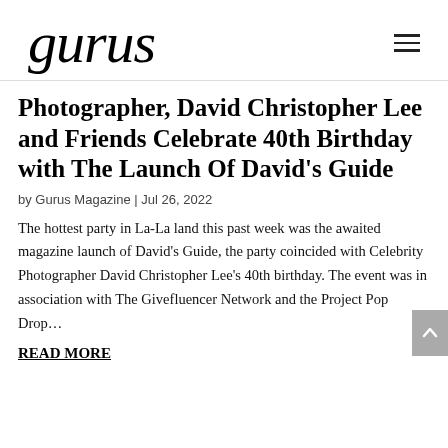gurus
Photographer, David Christopher Lee and Friends Celebrate 40th Birthday with The Launch Of David's Guide
by Gurus Magazine | Jul 26, 2022
The hottest party in La-La land this past week was the awaited magazine launch of David's Guide, the party coincided with Celebrity Photographer David Christopher Lee's 40th birthday. The event was in association with The Givefluencer Network and the Project Pop Drop...
READ MORE